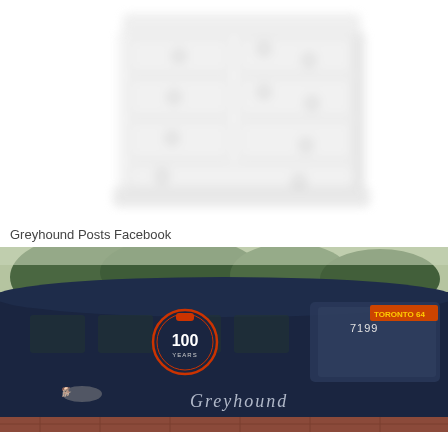[Figure (photo): A blurry, faded image of a white wooden chest of drawers with multiple drawers and small ring pulls, shown against a white background.]
Greyhound Posts Facebook
[Figure (photo): A photo of a dark navy Greyhound bus with a 100 years anniversary logo/decal on the side, the number 7199 visible in the windshield area, and the Greyhound logo and branding on the side. Trees and a brick building are visible in the background.]